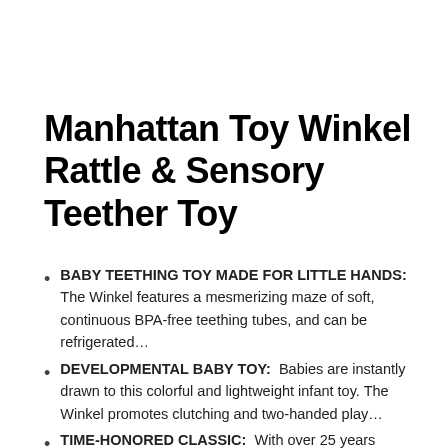Manhattan Toy Winkel Rattle & Sensory Teether Toy
BABY TEETHING TOY MADE FOR LITTLE HANDS: The Winkel features a mesmerizing maze of soft, continuous BPA-free teething tubes, and can be refrigerated…
DEVELOPMENTAL BABY TOY:  Babies are instantly drawn to this colorful and lightweight infant toy. The Winkel promotes clutching and two-handed play…
TIME-HONORED CLASSIC:  With over 25 years engaging babies and soothing even the fussiest of